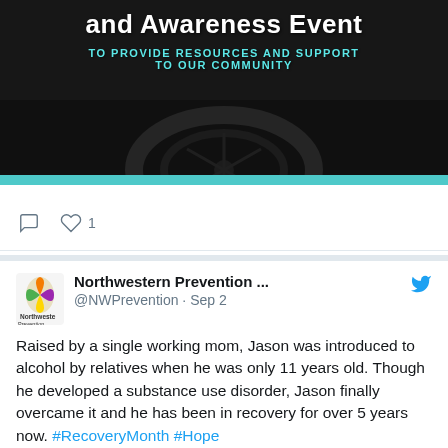[Figure (photo): Motorcycle wheel/bike image with dark overlay background, banner reading 'and Awareness Event' in white bold text, subtitle 'TO PROVIDE RESOURCES AND SUPPORT TO OUR COMMUNITY' in teal/cyan letters, teal bar at bottom]
comment icon  heart icon  1
Northwestern Prevention ...
@NWPrevention · Sep 2

Raised by a single working mom, Jason was introduced to alcohol by relatives when he was only 11 years old. Though he developed a substance use disorder, Jason finally overcame it and he has been in recovery for over 5 years now. #RecoveryMonth #Hope youtu.be/3rrjle5IEQg
[Figure (screenshot): YouTube video card thumbnail with play button, domain youtube.com, title: A Recovery Month Story: Jason]